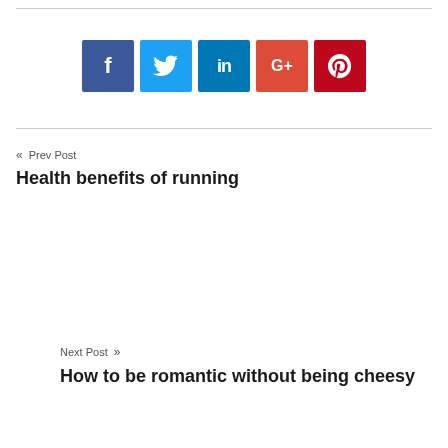[Figure (other): Social media share buttons: Facebook (blue), Twitter (light blue), LinkedIn (dark blue), Google+ (red), Pinterest (dark red)]
« Prev Post
Health benefits of running
Next Post »
How to be romantic without being cheesy